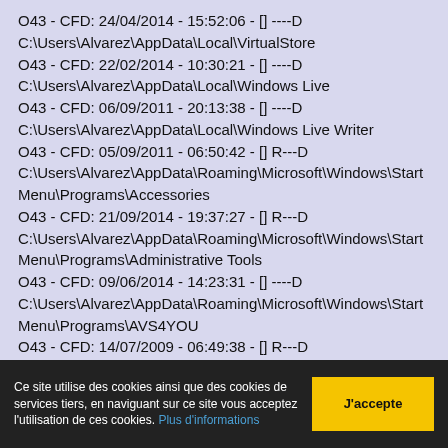O43 - CFD: 24/04/2014 - 15:52:06 - [] ----D C:\Users\Alvarez\AppData\Local\VirtualStore
O43 - CFD: 22/02/2014 - 10:30:21 - [] ----D C:\Users\Alvarez\AppData\Local\Windows Live
O43 - CFD: 06/09/2011 - 20:13:38 - [] ----D C:\Users\Alvarez\AppData\Local\Windows Live Writer
O43 - CFD: 05/09/2011 - 06:50:42 - [] R---D C:\Users\Alvarez\AppData\Roaming\Microsoft\Windows\Start Menu\Programs\Accessories
O43 - CFD: 21/09/2014 - 19:37:27 - [] R---D C:\Users\Alvarez\AppData\Roaming\Microsoft\Windows\Start Menu\Programs\Administrative Tools
O43 - CFD: 09/06/2014 - 14:23:31 - [] ----D C:\Users\Alvarez\AppData\Roaming\Microsoft\Windows\Start Menu\Programs\AVS4YOU
O43 - CFD: 14/07/2009 - 06:49:38 - [] R---D C:\Users\Alvarez\AppData\Roaming\Microsoft\Windows\Start Menu\Programs\Maintenance
O43 - CFD: 05/09/2011 - 17:27:17 - [0] ----D
Ce site utilise des cookies ainsi que des cookies de services tiers, en naviguant sur ce site vous acceptez l'utilisation de ces cookies. Plus d'informations